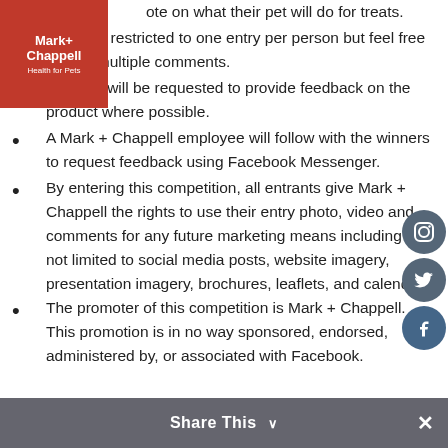[Figure (logo): Mark + Chappell Health for Pets logo, red square background]
...ote on what their pet will do for treats.
...giveaway is restricted to one entry per person but feel free to post multiple comments.
Winners will be requested to provide feedback on the product where possible.
A Mark + Chappell employee will follow with the winners to request feedback using Facebook Messenger.
By entering this competition, all entrants give Mark + Chappell the rights to use their entry photo, video and comments for any future marketing means including but not limited to social media posts, website imagery, presentation imagery, brochures, leaflets, and calendars.
The promoter of this competition is Mark + Chappell. This promotion is in no way sponsored, endorsed, administered by, or associated with Facebook.
[Figure (illustration): Social media icons: Instagram, Twitter, Facebook]
Share This ✓ ×